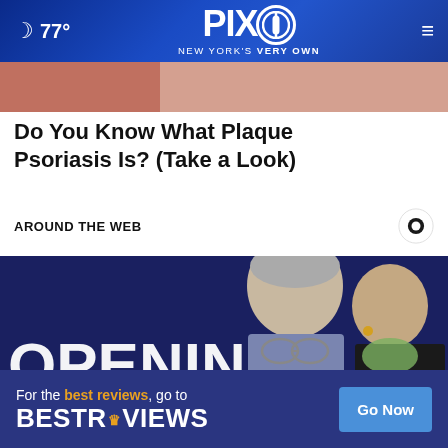77° PIX11 NEW YORK'S VERY OWN
[Figure (photo): Cropped skin/skin-tone advertisement image strip at top of content area]
Do You Know What Plaque Psoriasis Is? (Take a Look)
AROUND THE WEB
[Figure (photo): Photo of Dr. Anthony Fauci and Dr. Deborah Birx standing in front of a dark blue backdrop with white text reading 'OPENING AMERICA']
[Figure (other): Bottom advertisement banner: For the best reviews, go to BESTREVIEWS with Go Now button]